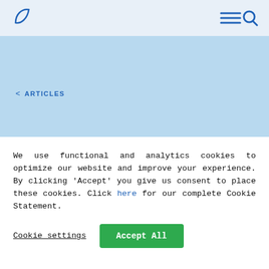Navigation bar with leaf logo and menu/search icons
[Figure (logo): Blue leaf/sprout logo icon in top left navigation bar]
[Figure (illustration): Hamburger menu and search icon in top right navigation bar]
< ARTICLES
[Figure (illustration): Blue filled leaf/teardrop shape icon on light blue hero background]
Agrofair bananas
We use functional and analytics cookies to optimize our website and improve your experience. By clicking ‘Accept’ you give us consent to place these cookies. Click here for our complete Cookie Statement.
Cookie settings
Accept All